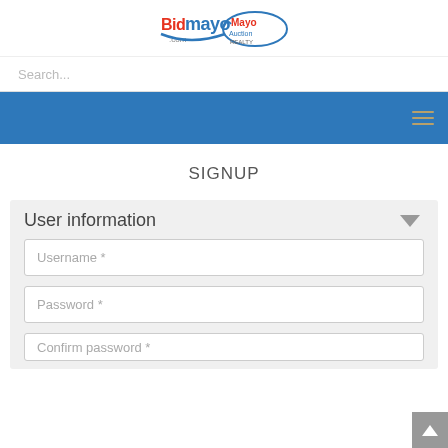[Figure (logo): BidMayo.com and Mayo Auction Realty logos side by side]
Search...
[Figure (other): Blue navigation bar with hamburger menu icon on the right]
SIGNUP
User information
Username *
Password *
Confirm password *